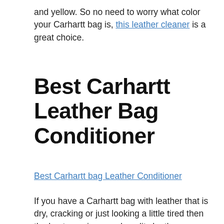and yellow. So no need to worry what color your Carhartt bag is, this leather cleaner is a great choice.
Best Carhartt Leather Bag Conditioner
Best Carhartt bag Leather Conditioner
If you have a Carhartt bag with leather that is dry, cracking or just looking a little tired then the best cure is a good quality leather conditioner to make it soft and look and feel like new leather again.